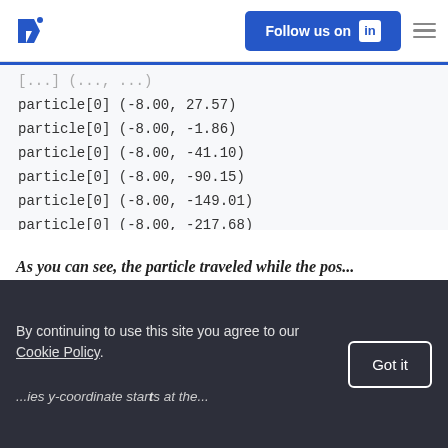Toptal logo | Follow us on LinkedIn | Menu
particle[0] (-8.00, 27.57)
particle[0] (-8.00, -1.86)
particle[0] (-8.00, -41.10)
particle[0] (-8.00, -90.15)
particle[0] (-8.00, -149.01)
particle[0] (-8.00, -217.68)
particle[0] (-8.00, -296.16)
particle[0] (-8.00, -384.45)
particle[0] (-8.00, -482.55)
As you can see, the particle traveled while the...
By continuing to use this site you agree to our Cookie Policy.